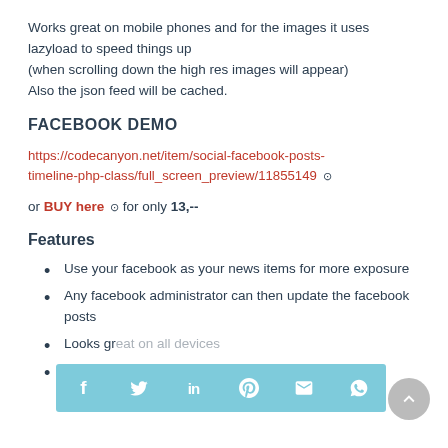Works great on mobile phones and for the images it uses lazyload to speed things up
(when scrolling down the high res images will appear)
Also the json feed will be cached.
FACEBOOK DEMO
https://codecanyon.net/item/social-facebook-posts-timeline-php-class/full_screen_preview/11855149 ⧉
or BUY here ⧉ for only 13,--
Features
Use your facebook as your news items for more exposure
Any facebook administrator can then update the facebook posts
Looks gr...
Plays in... ook video’s